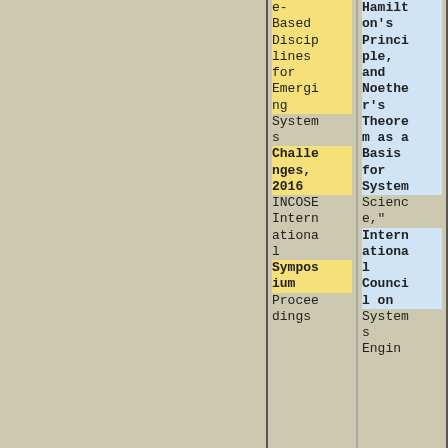| Column 1 (partial) | Column 2 (partial) |
| --- | --- |
| e-Based Disciplines for Emerging Systems Challenges, 2016 | Hamilton's Principle, and Noether's Theorem as a Basis for System Science, |
| INCOSE International Symposium Proceedings | International Council on Systems Engi... |